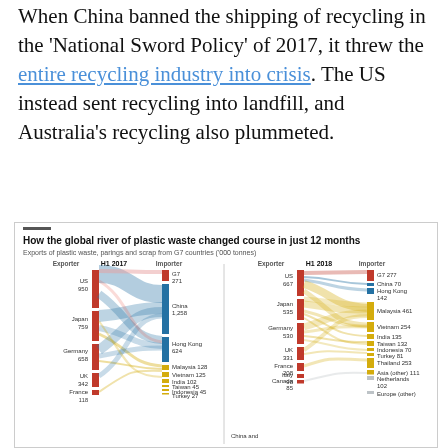When China banned the shipping of recycling in the 'National Sword Policy' of 2017, it threw the entire recycling industry into crisis. The US instead sent recycling into landfill, and Australia's recycling also plummeted.
How the global river of plastic waste changed course in just 12 months. Exports of plastic waste, parings and scrap from G7 countries ('000 tonnes)
[Figure (infographic): Two Sankey diagrams side by side showing exports of plastic waste from G7 countries ('000 tonnes). Left: H1 2017 — Exporters: US 950, Japan 759, Germany 658, UK 342, France 118. Importers: G7 271, China 1,258, Hong Kong 624, Malaysia 128, Vietnam 125, India 102, Taiwan 45, Indonesia 45, Turkey 27. Right: H1 2018 — Exporters: US 667, Japan 535, Germany 530, UK 331, France 208, Italy 98, Canada 85. Importers: G7 277, China 70, Hong Kong 142, Malaysia 461, Vietnam 254, India 135, Taiwan 132, Indonesia 70, Turkey 81, Thailand 253, Asia (other) 111, Netherlands 102, Europe (other).]